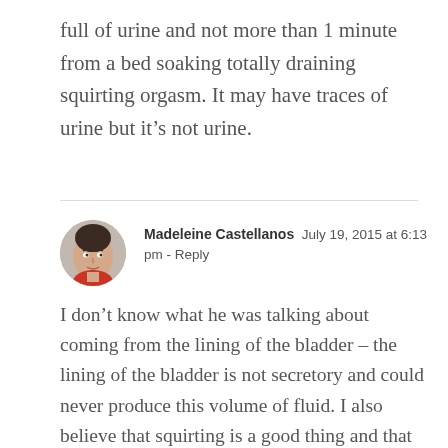full of urine and not more than 1 minute from a bed soaking totally draining squirting orgasm. It may have traces of urine but it's not urine.
Madeleine Castellanos  July 19, 2015 at 6:13 pm - Reply

I don't know what he was talking about coming from the lining of the bladder – the lining of the bladder is not secretory and could never produce this volume of fluid. I also believe that squirting is a good thing and that you should not worry or feel embarrassed. I am only